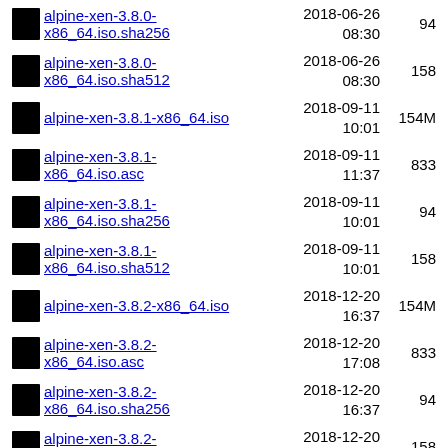alpine-xen-3.8.0-x86_64.iso.sha256  2018-06-26 08:30  94
alpine-xen-3.8.0-x86_64.iso.sha512  2018-06-26 08:30  158
alpine-xen-3.8.1-x86_64.iso  2018-09-11 10:01  154M
alpine-xen-3.8.1-x86_64.iso.asc  2018-09-11 11:37  833
alpine-xen-3.8.1-x86_64.iso.sha256  2018-09-11 10:01  94
alpine-xen-3.8.1-x86_64.iso.sha512  2018-09-11 10:01  158
alpine-xen-3.8.2-x86_64.iso  2018-12-20 16:37  154M
alpine-xen-3.8.2-x86_64.iso.asc  2018-12-20 17:08  833
alpine-xen-3.8.2-x86_64.iso.sha256  2018-12-20 16:37  94
alpine-xen-3.8.2-x86_64.iso.sha512  2018-12-20 16:37  158
alpine-xen-3.8.3-x86_64.iso  2019-03-05 10:02  154M
alpine-xen-3.8.3-  2019-03-05  94